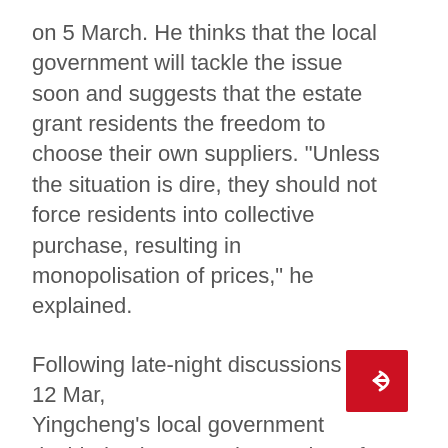on 5 March. He thinks that the local government will tackle the issue soon and suggests that the estate grant residents the freedom to choose their own suppliers. “Unless the situation is dire, they should not force residents into collective purchase, resulting in monopolisation of prices,” he explained.
Following late-night discussions on 12 Mar, Yingcheng’s local government decided to increase the number of suppliers in a bid to lower the prices of daily necessities through competition between suppliers. The government will also subsidise the suppliers to lower the cost of operations.